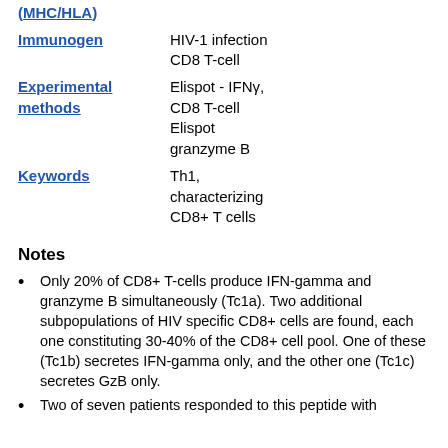(MHC/HLA)
Immunogen: HIV-1 infection
Experimental methods: CD8 T-cell Elispot - IFNy, CD8 T-cell Elispot granzyme B
Keywords: Th1, characterizing CD8+ T cells
Notes
Only 20% of CD8+ T-cells produce IFN-gamma and granzyme B simultaneously (Tc1a). Two additional subpopulations of HIV specific CD8+ cells are found, each one constituting 30-40% of the CD8+ cell pool. One of these (Tc1b) secretes IFN-gamma only, and the other one (Tc1c) secretes GzB only.
Two of seven patients responded to this peptide with